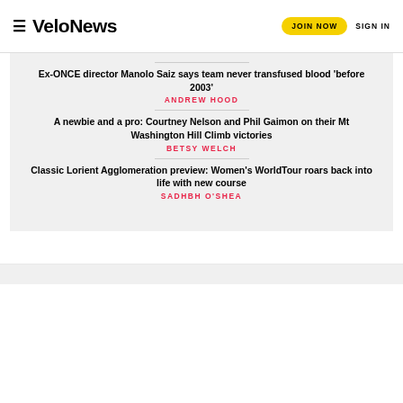VeloNews — JOIN NOW  SIGN IN
Ex-ONCE director Manolo Saiz says team never transfused blood 'before 2003'
ANDREW HOOD
A newbie and a pro: Courtney Nelson and Phil Gaimon on their Mt Washington Hill Climb victories
BETSY WELCH
Classic Lorient Agglomeration preview: Women's WorldTour roars back into life with new course
SADHBH O'SHEA